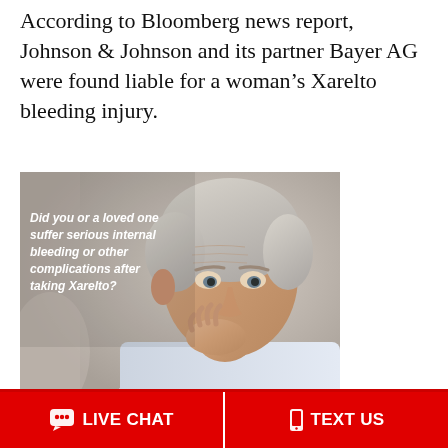According to Bloomberg news report, Johnson & Johnson and its partner Bayer AG were found liable for a woman's Xarelto bleeding injury.
[Figure (photo): Elderly man with hand to chin in contemplative pose, with italic bold white text overlay reading: Did you or a loved one suffer serious internal bleeding or other complications after taking Xarelto?]
Xarelto Bleeding Injury Lawsuit $27M Verdict. According to Bloomberg news report, Johnson & Johnson and its partner Bayer AG were found liable for a woman's Xarelto bleeding
LIVE CHAT | TEXT US